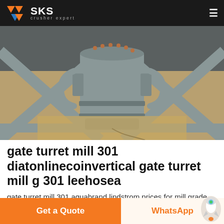SKS crusher expert
[Figure (photo): Underside view of a large industrial mill turret/gate assembly, painted grey, mounted on a steel frame structure with X-bracing. Copper fittings visible on top of the cylindrical component.]
gate turret mill 301 diatonlinecoinvertical gate turret mill g 301 leehosea
gate turret mill 301 aquabrand lindstrom prices for mill grade tools gate turret mill 301 Disc mill steel burr mill